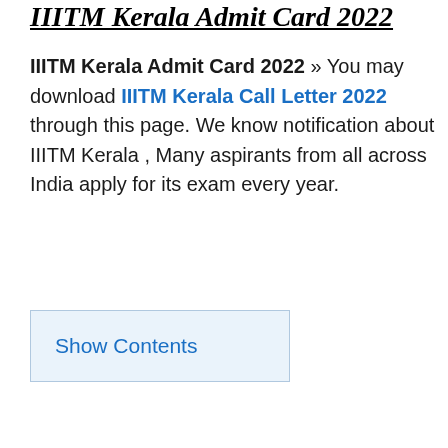IIITM Kerala Admit Card 2022
IIITM Kerala Admit Card 2022 » You may download IIITM Kerala Call Letter 2022 through this page. We know notification about IIITM Kerala , Many aspirants from all across India apply for its exam every year.
Show Contents